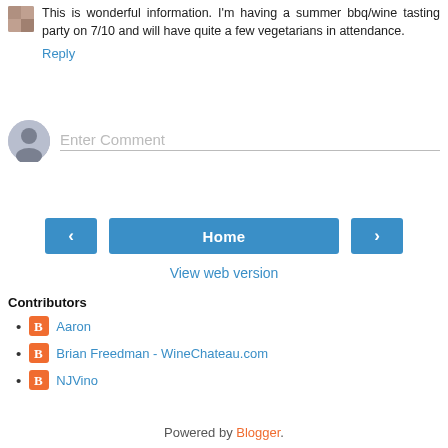This is wonderful information. I'm having a summer bbq/wine tasting party on 7/10 and will have quite a few vegetarians in attendance.
Reply
Enter Comment
< Home >
View web version
Contributors
Aaron
Brian Freedman - WineChateau.com
NJVino
Powered by Blogger.